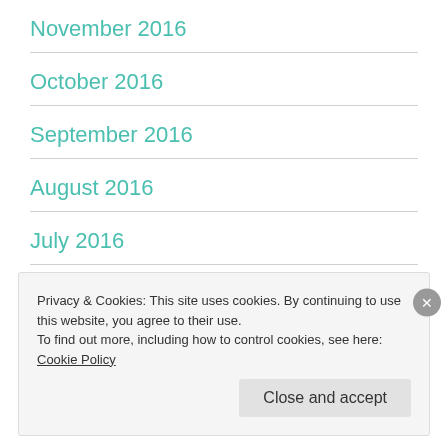November 2016
October 2016
September 2016
August 2016
July 2016
June 2016
Privacy & Cookies: This site uses cookies. By continuing to use this website, you agree to their use.
To find out more, including how to control cookies, see here: Cookie Policy
Close and accept